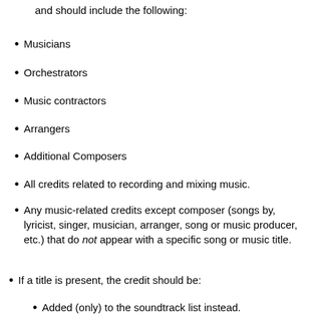and should include the following:
Musicians
Orchestrators
Music contractors
Arrangers
Additional Composers
All credits related to recording and mixing music.
Any music-related credits except composer (songs by, lyricist, singer, musician, arranger, song or music producer, etc.) that do not appear with a specific song or music title.
If a title is present, the credit should be:
Added (only) to the soundtrack list instead.
A name may also appear in the soundtrack listing, but to qualify for the music department list there must be at least one credit with no song or music title.